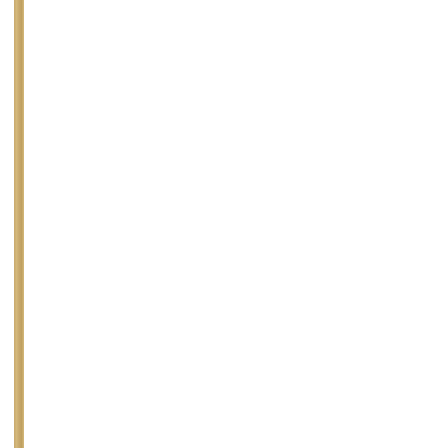...y spending the corporate...
Poor teacher of S... Lumsden, 8 Octo...
Arthur Phill...
In 2014 an Ar... "Kill the Chri...
He was order...
Another 17-y... October 2015... terrorist class...
This student a... shot".